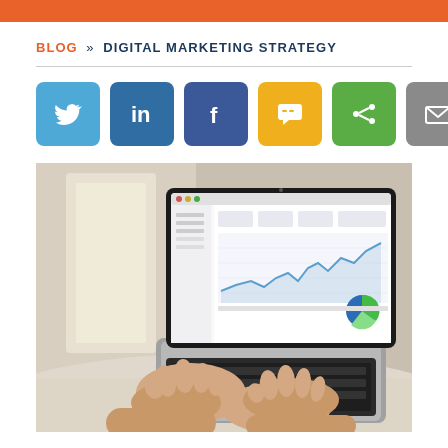BLOG » DIGITAL MARKETING STRATEGY
[Figure (infographic): Row of six social sharing buttons: Twitter (light blue), LinkedIn (dark blue), Facebook (dark blue), SMS (yellow), Share (green), Email (gray)]
[Figure (photo): Person typing on a laptop displaying analytics dashboard with a line chart and a pie chart]